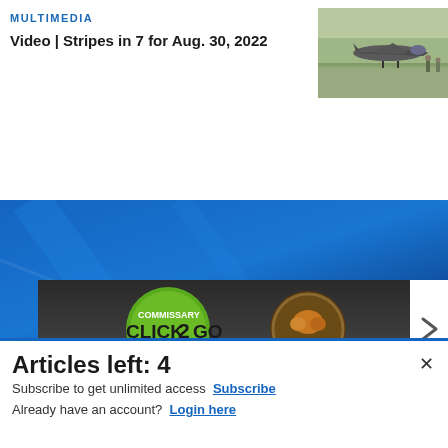MULTIMEDIA
Video | Stripes in 7 for Aug. 30, 2022
[Figure (photo): Military jet aircraft on tarmac with personnel walking nearby]
[Figure (photo): Blue decorative banner background]
[Figure (photo): Commissary Click2Go advertisement banner with logo]
Articles left: 4
Subscribe to get unlimited access  Subscribe
Already have an account?  Login here